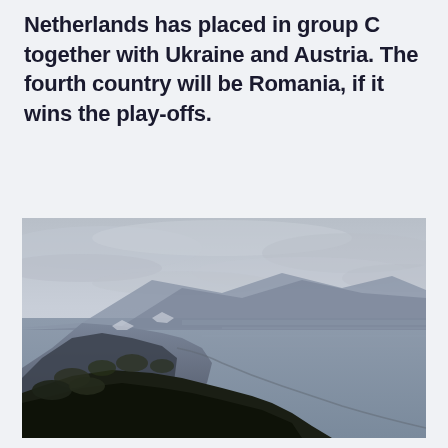Netherlands has placed in group C together with Ukraine and Austria. The fourth country will be Romania, if it wins the play-offs.
[Figure (photo): Aerial coastal landscape photo showing a rugged mountainous coastline with dramatic rocky cliffs descending to a calm grey-blue sea. Overcast sky with layered clouds above. The mountains recede into the background along the coastline.]